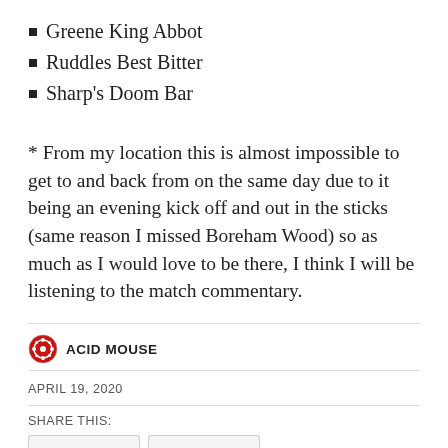Greene King Abbot
Ruddles Best Bitter
Sharp's Doom Bar
* From my location this is almost impossible to get to and back from on the same day due to it being an evening kick off and out in the sticks (same reason I missed Boreham Wood) so as much as I would love to be there, I think I will be listening to the match commentary.
ACID MOUSE
APRIL 19, 2020
SHARE THIS: